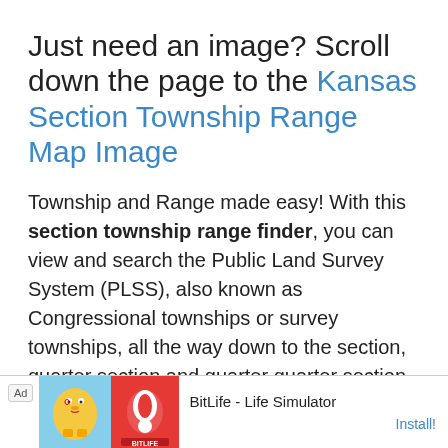Just need an image? Scroll down the page to the Kansas Section Township Range Map Image
Township and Range made easy! With this section township range finder, you can view and search the Public Land Survey System (PLSS), also known as Congressional townships or survey townships, all the way down to the section, quarter section and quarter quarter section level anywhere in Kansas, all overlaid on a fully interactive Google Map. Optionally, add section township range labels, and overlay counties and cities as well!
[Figure (infographic): Advertisement banner for BitLife - Life Simulator app showing mascot character and install button]